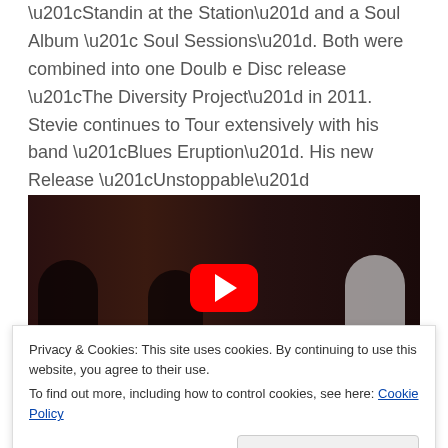“Standin at the Station” and a Soul Album “ Soul Sessions”. Both were combined into one Doulb e Disc release “The Diversity Project” in 2011. Stevie continues to Tour extensively with his band “Blues Eruption”. His new Release “Unstoppable” solidify’s this Independent Blues artist as part of the new wave of blues.
[Figure (photo): Video thumbnail showing dark silhouetted figures in a room, with a YouTube red play button overlay in the center.]
Privacy & Cookies: This site uses cookies. By continuing to use this website, you agree to their use.
To find out more, including how to control cookies, see here: Cookie Policy